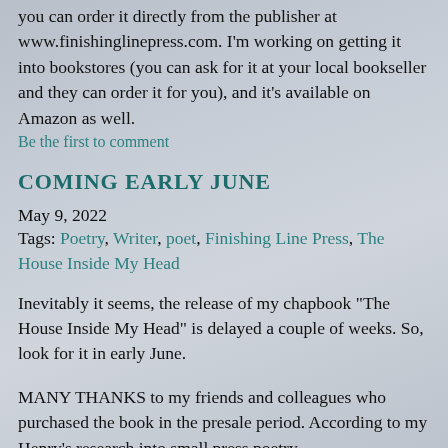you can order it directly from the publisher at www.finishinglinepress.com. I'm working on getting it into bookstores (you can ask for it at your local bookseller and they can order it for you), and it's available on Amazon as well.
Be the first to comment
COMING EARLY JUNE
May 9, 2022
Tags: Poetry, Writer, poet, Finishing Line Press, The House Inside My Head
Inevitably it seems, the release of my chapbook "The House Inside My Head" is delayed a couple of weeks. So, look for it in early June.
MANY THANKS to my friends and colleagues who purchased the book in the presale period. According to my Henry's research into small press poetry